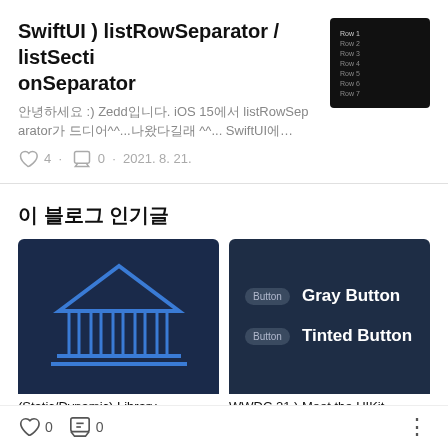SwiftUI ) listRowSeparator / listSectionSeparator
안녕하세요 :) Zedd입니다. iOS 15에서 listRowSeparator가 드디어^^...나왔다길래 ^^... SwiftUI에…
♡ 4 · 💬 0 · 2021. 8. 21.
[Figure (screenshot): Dark-themed screenshot showing a list with Row 1 through Row 8 items]
이 블로그 인기글
[Figure (illustration): Dark blue background with a blue outlined pillared building/library icon]
[Figure (screenshot): Dark background showing Gray Button and Tinted Button UI elements]
(Static/Dynamic) Library
WWDC 21 ) Meet the UIKit
♡ 0   💬 0